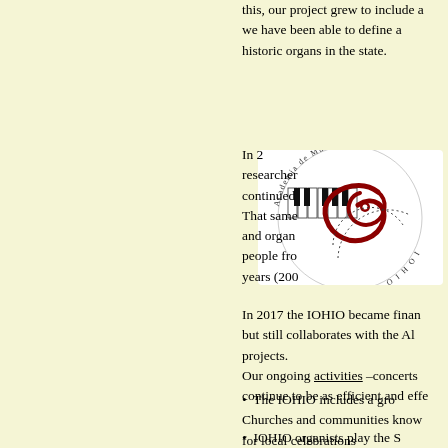this, our project grew to include a we have been able to define a historic organs in the state.
[Figure (logo): Academia de Música del IOHIO logo — circular emblem with piano keys and a red spiral, text around the border reading ACADEMIA DE MÚSICA DEL IOHIO]
In 2 researcher continued That same and organ people fro years (200
In 2017 the IOHIO became finan but still collaborates with the Al projects. Our ongoing activities –concerts continue to be as efficient and effe
The IOHIO includes a gro Churches and communities know for local celebrations
IOHIO organists play the S